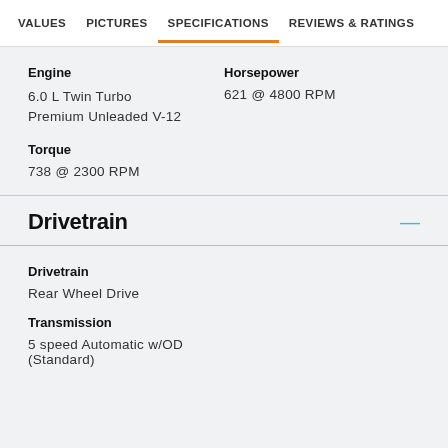VALUES   PICTURES   SPECIFICATIONS   REVIEWS & RATINGS
Engine
6.0 L Twin Turbo Premium Unleaded V-12
Horsepower
621 @ 4800 RPM
Torque
738 @ 2300 RPM
Drivetrain
Drivetrain
Rear Wheel Drive
Transmission
5 speed Automatic w/OD (Standard)